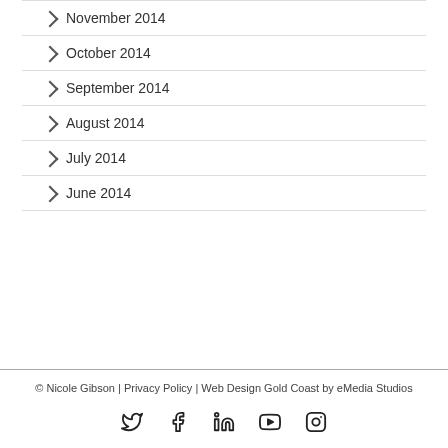November 2014
October 2014
September 2014
August 2014
July 2014
June 2014
© Nicole Gibson | Privacy Policy | Web Design Gold Coast by eMedia Studios